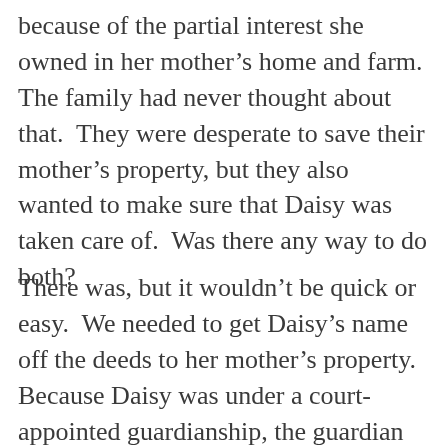because of the partial interest she owned in her mother's home and farm.  The family had never thought about that.  They were desperate to save their mother's property, but they also wanted to make sure that Daisy was taken care of.  Was there any way to do both?
There was, but it wouldn't be quick or easy.  We needed to get Daisy's name off the deeds to her mother's property.  Because Daisy was under a court-appointed guardianship, the guardian had to have the judge's approval to sign any deeds on Daisy's behalf, and there was no guarantee that the judge would agree